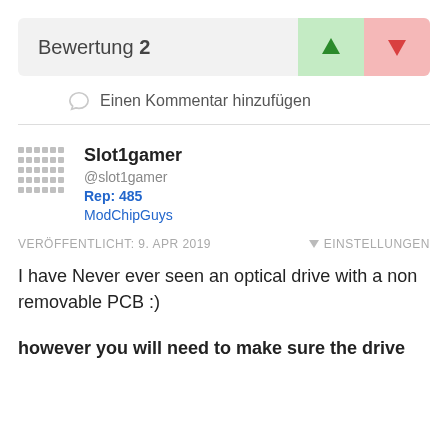Bewertung 2
Einen Kommentar hinzufügen
Slot1gamer
@slot1gamer
Rep: 485
ModChipGuys
VERÖFFENTLICHT: 9. APR 2019    EINSTELLUNGEN
I have Never ever seen an optical drive with a non removable PCB :)
however you will need to make sure the drive